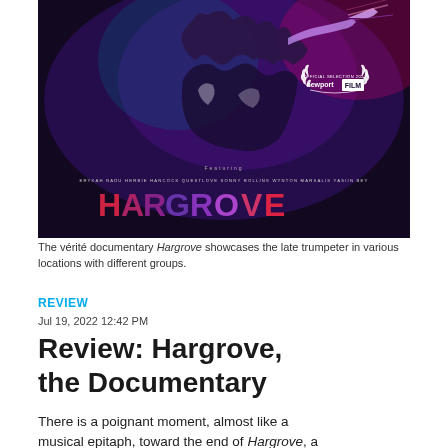[Figure (photo): Movie poster for the documentary film Hargrove. Dark purple/black background showing a trumpeter playing. Text at bottom reads 'Featuring ERYKAH BADU HERBIE HANCOCK QUESTLOVE SONNY ROLLINS WYNTON MARSALIS YASIIN BEY' and title 'HARGROVE' in large colorful letters. Newport FILM Official Selection 2022 laurel badge in upper right.]
The vérité documentary Hargrove showcases the late trumpeter in various locations with different groups.
REVIEW
Jul 19, 2022 12:42 PM
Review: Hargrove, the Documentary
There is a poignant moment, almost like a musical epitaph, toward the end of Hargrove, a